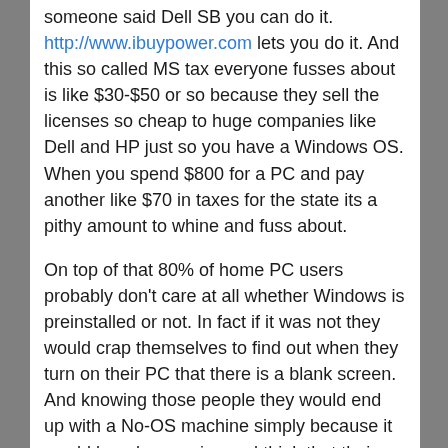someone said Dell SB you can do it. http://www.ibuypower.com lets you do it. And this so called MS tax everyone fusses about is like $30-$50 or so because they sell the licenses so cheap to huge companies like Dell and HP just so you have a Windows OS. When you spend $800 for a PC and pay another like $70 in taxes for the state its a pithy amount to whine and fuss about.
On top of that 80% of home PC users probably don't care at all whether Windows is preinstalled or not. In fact if it was not they would crap themselves to find out when they turn on their PC that there is a blank screen. And knowing those people they would end up with a No-OS machine simply because it would be a lower price and think that their Dell disc will work with their new HP machine. Usability for 80% of users trumps the